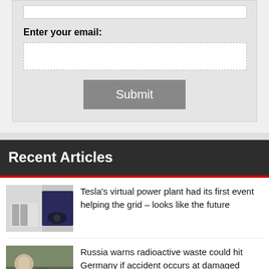[Figure (screenshot): Web form with email input field and Submit button on gray background]
Recent Articles
[Figure (photo): Tesla Powerwall and car in garage]
Tesla’s virtual power plant had its first event helping the grid – looks like the future
[Figure (photo): People in protective gear dealing with nuclear/radioactive materials]
Russia warns radioactive waste could hit Germany if accident occurs at damaged nuclear power plant
[Figure (photo): Third article thumbnail with red background]